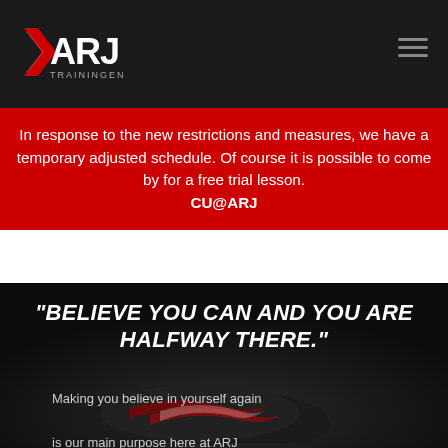ARJ Trainingen logo and navigation
In response to the new restrictions and measures, we have a temporary adjusted schedule. Of course it is possible to come by for a free trial lesson. CU@ARJ
"BELIEVE YOU CAN AND YOU ARE HALFWAY THERE."
Making you believe in yourself again is our main purpose here at ARJ Trainingen. We area a team that